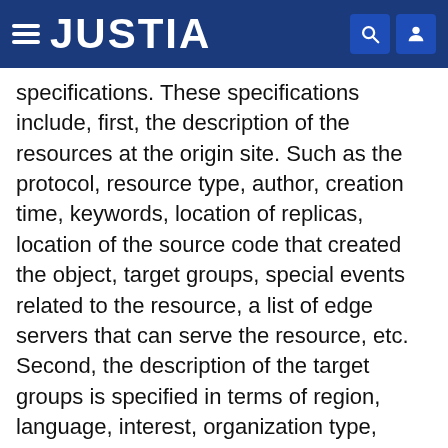JUSTIA
specifications. These specifications include, first, the description of the resources at the origin site. Such as the protocol, resource type, author, creation time, keywords, location of replicas, location of the source code that created the object, target groups, special events related to the resource, a list of edge servers that can serve the resource, etc. Second, the description of the target groups is specified in terms of region, language, interest, organization type, security level, edge server specification and capabilities, communication speeds, subgroups, type of events, etc. Third, the delivery policy and actions that relate the delivery of resources to target groups and notification triggered for such deliveries are specified. Fourth, there is a specification of the DNS and HTTP redirections policies. Fifth, the load balancing policy to be carried by the edge server is specified. Sixth, there is a description of the